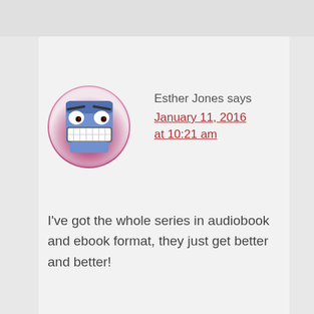Esther Jones says
January 11, 2016 at 10:21 am
I've got the whole series in audiobook and ebook format, they just get better and better!
Reply
[Figure (illustration): Cartoon avatar: blue square-faced character with wide grin, on pink/purple circular background]
Mo says